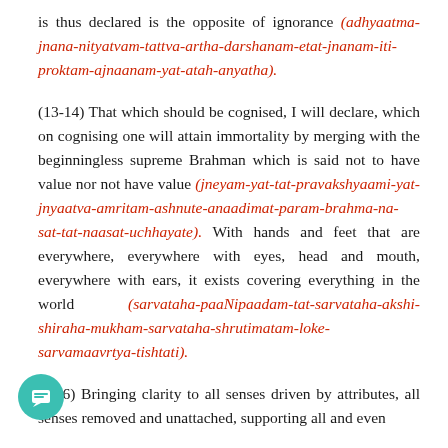is thus declared is the opposite of ignorance (adhyaatma-jnana-nityatvam-tattva-artha-darshanam-etat-jnanam-iti-proktam-ajnaanam-yat-atah-anyatha).
(13-14) That which should be cognised, I will declare, which on cognising one will attain immortality by merging with the beginningless supreme Brahman which is said not to have value nor not have value (jneyam-yat-tat-pravakshyaami-yat-jnyaatva-amritam-ashnute-anaadimat-param-brahma-na-sat-tat-naasat-uchhayate). With hands and feet that are everywhere, everywhere with eyes, head and mouth, everywhere with ears, it exists covering everything in the world (sarvataha-paaNipaadam-tat-sarvataha-akshi-shiraha-mukham-sarvataha-shrutimatam-loke-sarvamaavrtya-tishtati).
(16) Bringing clarity to all senses driven by attributes, all senses removed and unattached, supporting all and even